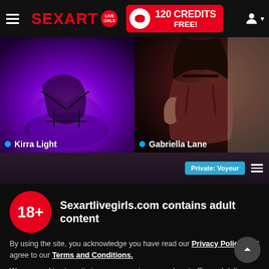SEXART LIVE GIRLS — 120 CREDITS FREE!
[Figure (screenshot): Two side-by-side live video thumbnails: left shows 'Kirra Light' with purple/UV lighting, right shows 'Gabriella Lane' with dark warm lighting. Below is a partial third thumbnail with 'Private: Voyeur' badge.]
Sexartlivegirls.com contains adult content
By using the site, you acknowledge you have read our Privacy Policy, and agree to our Terms and Conditions.
We use cookies to optimize your experience, analyze traffic, and deliver more personalized service. To learn more, please see our Privacy Policy.
I AGREE